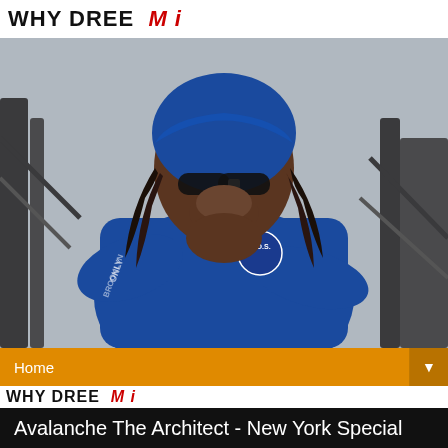WHY DREE
[Figure (photo): A man wearing a blue hoodie with dreadlocks, blue bandana on head, and sunglasses, sitting on steps with hand on chin in a thoughtful pose. Text on sleeve reads partially visible lettering. The hoodie has S.O.S. logo on chest.]
Home
WHY DREE
Avalanche The Architect - New York Special